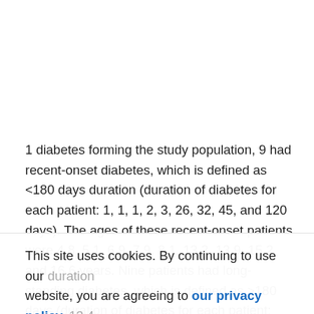1 diabetes forming the study population, 9 had recent-onset diabetes, which is defined as <180 days duration (duration of diabetes for each patient: 1, 1, 1, 2, 3, 26, 32, 45, and 120 days). The ages of these recent-onset patients were 4.8, 5.1, 6.9, 7.9, 8.1, 13.2, 13.9, 15.2, and 16.6 years. Nine patients had long-standing diabetes, which is defined as >180 days (duration of diabetes for each patient: 183, 185, 279, 354, 1,233, 1,586, 2,353,
This site uses cookies. By continuing to use our website, you are agreeing to our privacy policy. Accept